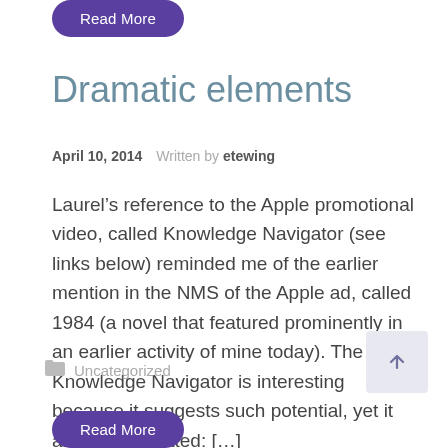Read More
Dramatic elements
April 10, 2014    Written by etewing
Laurel’s reference to the Apple promotional video, called Knowledge Navigator (see links below) reminded me of the earlier mention in the NMS of the Apple ad, called 1984 (a novel that featured prominently in an earlier activity of mine today). The Knowledge Navigator is interesting because it suggests such potential, yet it also seems dated: […]
Uncategorized
Read More